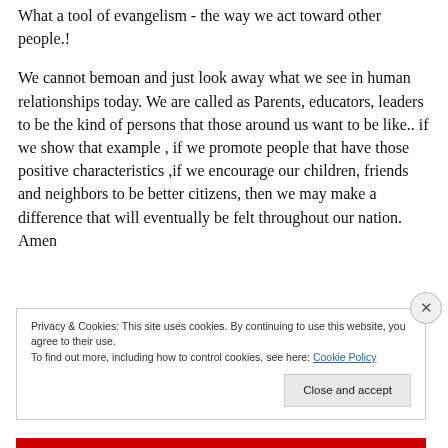What a tool of evangelism - the way we act toward other people.!
We cannot bemoan and just look away what we see in human relationships today. We are called as Parents, educators, leaders to be the kind of persons that those around us want to be like.. if we show that example , if we promote people that have those positive characteristics ,if we encourage our children, friends and neighbors to be better citizens, then we may make a difference that will eventually be felt throughout our nation. Amen
Privacy & Cookies: This site uses cookies. By continuing to use this website, you agree to their use.
To find out more, including how to control cookies, see here: Cookie Policy